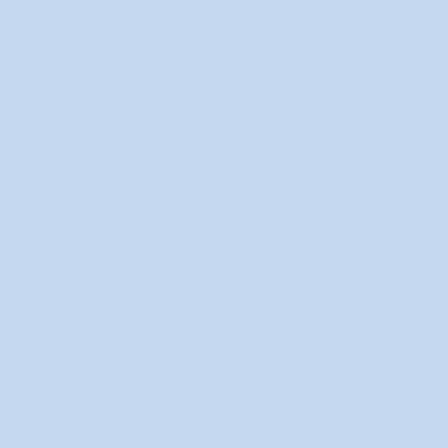| Slip's Music Database: MapleStory BGM & OST Collection |
| Maplestory 2, Aanyeong |
| Rules and Regulations [UPDATED: 2014-09-15] |
| [1.2.318] [KOR] Adventurer Skill Revamps |
| RED update thoughts and feedback |
-- Southperry vB4 Default Style (dropdown)
All times are GMT -5. The time now is 04:5...
Powered by vBulletin® Version 4.1.1...
Copyright © 2022 vBulletin Solutions, Inc. All righ...
User Alert System provided by Advanced User Tagging v3.1.3 (Lite) - vBulletin M... Technologies Ltd.
2010, 2011, 2012, 2013, 2014 @ Eosian En...